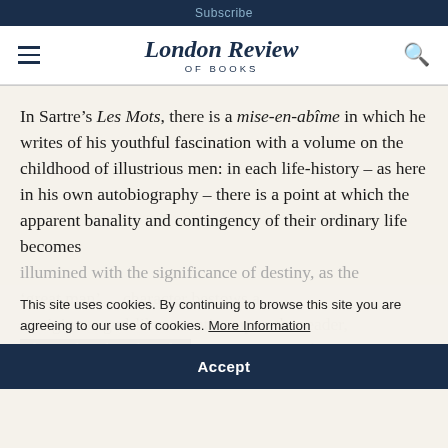Subscribe
London Review OF BOOKS
In Sartre’s Les Mots, there is a mise-en-abîme in which he writes of his youthful fascination with a volume on the childhood of illustrious men: in each life-history – as here in his own autobiography – there is a point at which the apparent banality and contingency of their ordinary life becomes illumined with the significance of destiny, as the ‘gr[eat man’]… ch[aracter] bestow[s] a vertiginous god-like sensation upon the reader, who is thereby placed in a position to exchange knowing looks and indulgent smiles with the
This site uses cookies. By continuing to browse this site you are agreeing to our use of cookies. More Information
Accept